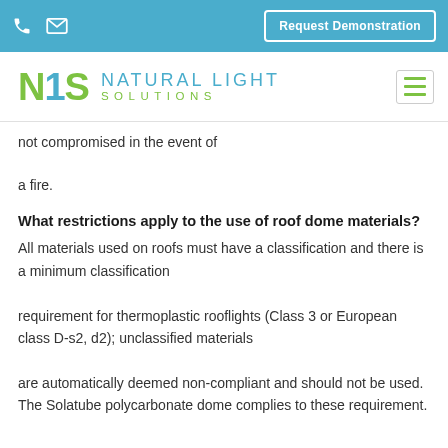Request Demonstration
[Figure (logo): NLS Natural Light Solutions logo with green N, blue 1, green S letters and text]
not compromised in the event of a fire.
What restrictions apply to the use of roof dome materials?
All materials used on roofs must have a classification and there is a minimum classification requirement for thermoplastic rooflights (Class 3 or European class D-s2, d2); unclassified materials are automatically deemed non-compliant and should not be used. The Solatube polycarbonate dome complies to these requirement.